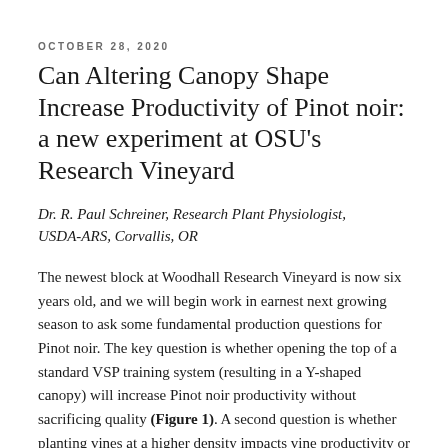OCTOBER 28, 2020
Can Altering Canopy Shape Increase Productivity of Pinot noir: a new experiment at OSU’s Research Vineyard
Dr. R. Paul Schreiner, Research Plant Physiologist, USDA-ARS, Corvallis, OR
The newest block at Woodhall Research Vineyard is now six years old, and we will begin work in earnest next growing season to ask some fundamental production questions for Pinot noir. The key question is whether opening the top of a standard VSP training system (resulting in a Y-shaped canopy) will increase Pinot noir productivity without sacrificing quality (Figure 1). A second question is whether planting vines at a higher density impacts vine productivity or fruit quality. These